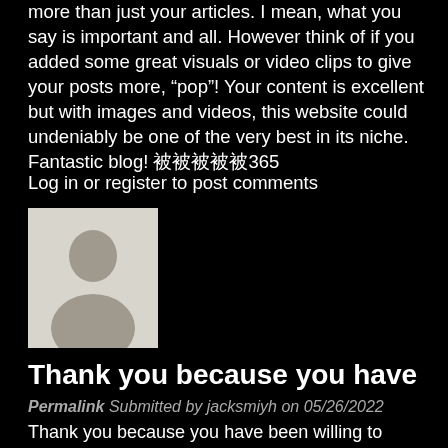more than just your articles. I mean, what you say is important and all. However think of if you added some great visuals or video clips to give your posts more, “pop”! Your content is excellent but with images and videos, this website could undeniably be one of the very best in its niche. Fantastic blog! 被被被被被365
Log in or register to post comments
[Figure (photo): Default user avatar placeholder — grey silhouette of a person on light grey background]
Thank you because you have
Permalink Submitted by jacksmiyh on 05/26/2022
Thank you because you have been willing to share information with us. we will always appreciate all you have done here because I know you are very concerned with our. ノノノノノノノノノノ